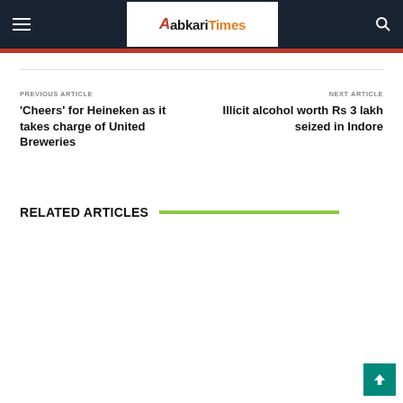abkari Times
PREVIOUS ARTICLE
'Cheers' for Heineken as it takes charge of United Breweries
NEXT ARTICLE
Illicit alcohol worth Rs 3 lakh seized in Indore
RELATED ARTICLES